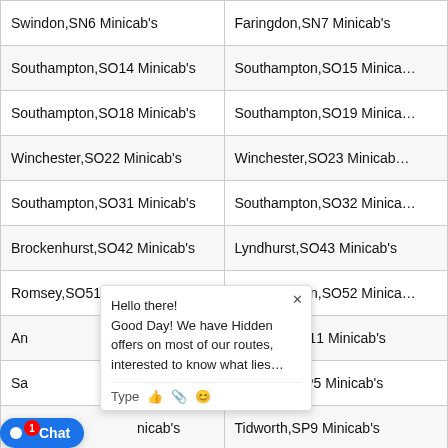| Column1 | Column2 |
| --- | --- |
| Swindon,SN6 Minicab's | Faringdon,SN7 Minicab's |
| Southampton,SO14 Minicab's | Southampton,SO15 Minicab's |
| Southampton,SO18 Minicab's | Southampton,SO19 Minicab's |
| Winchester,SO22 Minicab's | Winchester,SO23 Minicab's |
| Southampton,SO31 Minicab's | Southampton,SO32 Minicab's |
| Brockenhurst,SO42 Minicab's | Lyndhurst,SO43 Minicab's |
| Romsey,SO51 Minicab's | Southampton,SO52 Minicab's |
| Andover,SP10 Minicab's | Andover,SP11 Minicab's |
| Salisbury,SP4 Minicab's | Salisbury,SP5 Minicab's |
| Gillingham,SP8 Minicab's | Tidworth,SP9 Minicab's |
| Sunderland,SR3 Minicab's | Sunderland,SR4 Minicab's |
| Seaham,SR7 Minicab's | Peterlee,SR8 Minicab's |